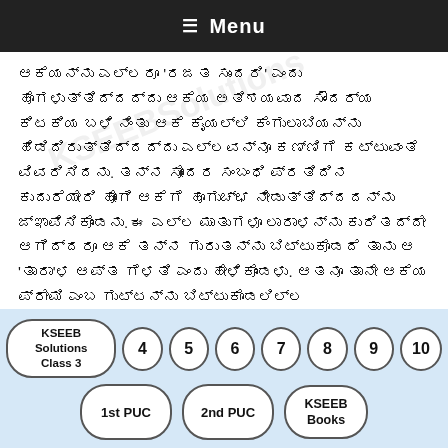≡ Menu
ಆಕೆಯನ್ನು ಎಲ್ಲರೂ 'ರಜತ ಸುಂದರಿ' ಎಂದು ಹೊಗಳುತ್ತಿದ್ದದ್ದು ಆಕೆಯ ಅತಿಶಯವಾದ ಸೌಂದರ್ಯ ಕಿಟಕಿಯ ಬಳಿ ನಿಂತು ಆಕೆ ಕೈಯಲ್ಲಿ ಕೆಂಗುಲಾಬಿಯನ್ನು ಹಿಡಿದಿರುತ್ತಿದ್ದದ್ದು ಎಲ್ಲವನ್ನೂ ಕಣ್ಣಿಗೆ ಕಟ್ಟುವಂತೆ ವಿವರಿಸಿದನು. ತನ್ನ ಸೋದರ ಸಂಬಂಧಿ ಪ್ರತಿದಿನ ಕುದುರೆಯೇರಿ ಹೋಗಿ ಆಕೆಗೆ ಹೂಗುಚ್ಛ ನೀಡುತ್ತಿದ್ದದನ್ನು ಜ್ಞಾಪಿಸಿಕೊಂಡನು. ಈ ಎಲ್ಲ ಮಾತುಗಳೂ ಲಾರಾಳನ್ನು ಕುರಿತದ್ದೇ ಆಗಿದ್ದರೂ ಆಕೆ ತನ್ನ ಗುರುತನ್ನು ಬಿಟ್ಟುಕೊಡದೆ ತಾನು ಆ 'ತಾರಾ'ಳ ಆಪ್ತ ಗೆಳತಿ ಎಂದು ಹೇಳಿಕೊಂಡಳು. ಆತನೂ ತಾನೇ ಆಕೆಯ ಪ್ರೇಮಿ ಎಂಬ ಗುಟ್ಟನ್ನು ಬಿಟ್ಟುಕೊಡಲಿಲ್ಲ.
ಮುಂದೆ ಇಬ್ಬರೂ ತಮ್ಮ ಕಥೆಗಳನ್ನೇ ಇತರರದು ಎನ್ನುವಂತೆ ನಿರೂಪಿಸುವರು. ಲಾರಾಳಿಗೆ ಇಷ್ಟವಿಲ್ಲದಿದ್ದರೂ ಆಕೆಯ ತಂದೆತಾಯಿ ಅವಳನ್ನು ಊರಿನ ಒಬ್ಬ
KSEEB Solutions Class 3
4
5
6
7
8
9
10
1st PUC
2nd PUC
KSEEB Books